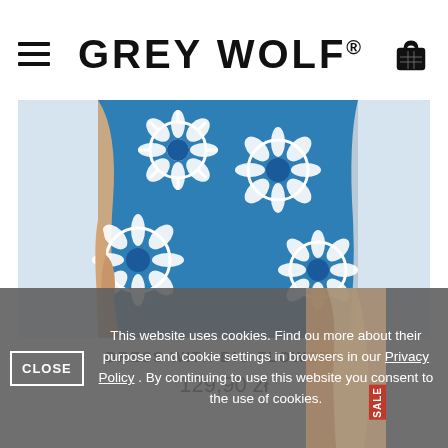GREY WOLF®
[Figure (photo): Floral dress with large blue and white daisy/sunflower pattern. Model's torso and legs partially visible against light background.]
DRESS WITH BIG FLOWERS
129,90 zł
This website uses cookies. Find ou more about their purpose and cookie settings in browsers in our Privacy Policy . By continuing to use this website you consent to the use of cookies.